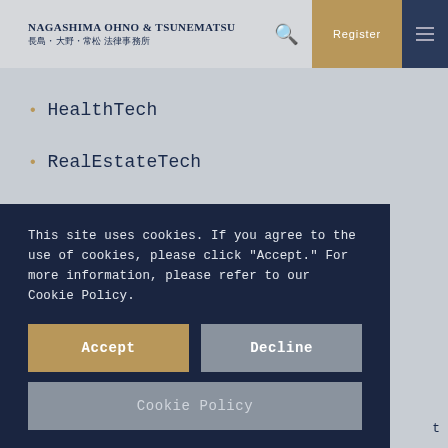Nagashima Ohno & Tsunematsu 長島・大野・常松 法律事務所
HealthTech
RealEstateTech
MaaS/Autonomous Transportation
Corporate Governance
General Corporate
This site uses cookies. If you agree to the use of cookies, please click "Accept." For more information, please refer to our Cookie Policy.
Accept
Decline
Cookie Policy